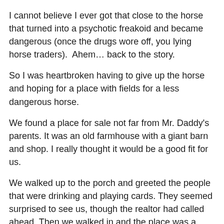I cannot believe I ever got that close to the horse that turned into a psychotic freakoid and became dangerous (once the drugs wore off, you lying horse traders).  Ahem… back to the story.
So I was heartbroken having to give up the horse and hoping for a place with fields for a less dangerous horse.
We found a place for sale not far from Mr. Daddy's parents. It was an old farmhouse with a giant barn and shop. I really thought it would be a good fit for us.
We walked up to the porch and greeted the people that were drinking and playing cards. They seemed surprised to see us, though the realtor had called ahead. Then we walked in and the place was a mess, stuff strewn everywhere. More people were inside and excused themselves - taking their beers out to the porch.
We picked our way through the mounds of clothes in the living room, to the kitchen with piles of dishes and food. I was trying to picture the place all cleaned up and painted… it